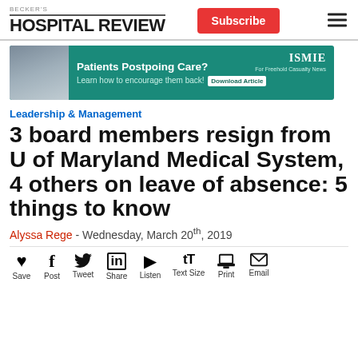BECKER'S HOSPITAL REVIEW
[Figure (infographic): Advertisement banner: teal background with 'Patients Postpoing Care? Learn how to encourage them back! Download Article' and ISMIE logo]
Leadership & Management
3 board members resign from U of Maryland Medical System, 4 others on leave of absence: 5 things to know
Alyssa Rege - Wednesday, March 20th, 2019
Save  Post  Tweet  Share  Listen  Text Size  Print  Email